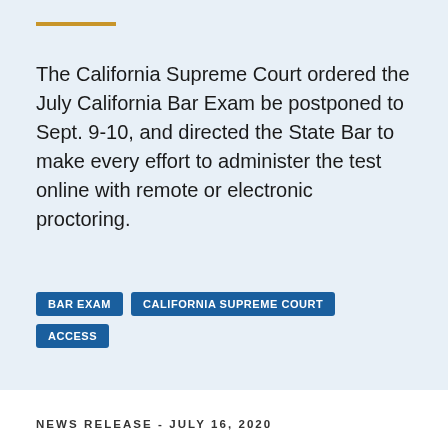The California Supreme Court ordered the July California Bar Exam be postponed to Sept. 9-10, and directed the State Bar to make every effort to administer the test online with remote or electronic proctoring.
BAR EXAM
CALIFORNIA SUPREME COURT
ACCESS
NEWS RELEASE - JULY 16, 2020
California Supreme Court Lowers